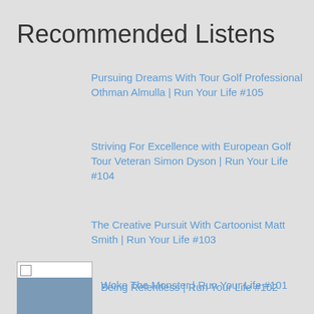Recommended Listens
Pursuing Dreams With Tour Golf Professional Othman Almulla | Run Your Life #105
Striving For Excellence with European Golf Tour Veteran Simon Dyson | Run Your Life #104
The Creative Pursuit With Cartoonist Matt Smith | Run Your Life #103
Being Relentless | Run Your Life #102
Woke The Monster | Run Your Life #101